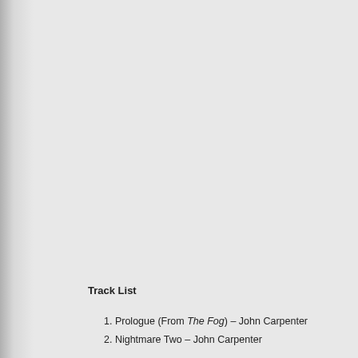Track List
1. Prologue (From The Fog) – John Carpenter
2. Nightmare Two – John Carpenter